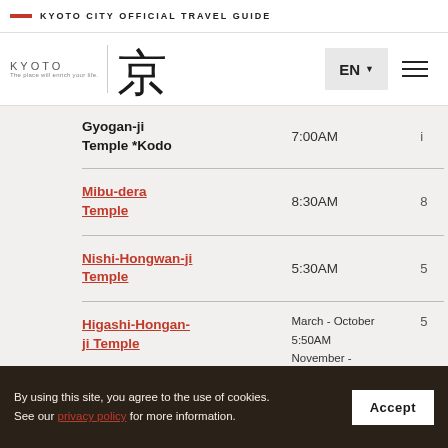KYOTO CITY OFFICIAL TRAVEL GUIDE
[Figure (logo): Kyoto city official travel guide logo with kanji character and KYOTO text]
| Name | Opening Time |  |
| --- | --- | --- |
| Gyogan-ji Temple *Kodo | 7:00AM | i |
| Mibu-dera Temple | 8:30AM | 8 |
| Nishi-Hongwan-ji Temple | 5:30AM | 5 |
| Higashi-Hongan-ji Temple | March - October
5:50AM
November -
... | 5 |
By using this site, you agree to the use of cookies. See our privacy policy for more information.